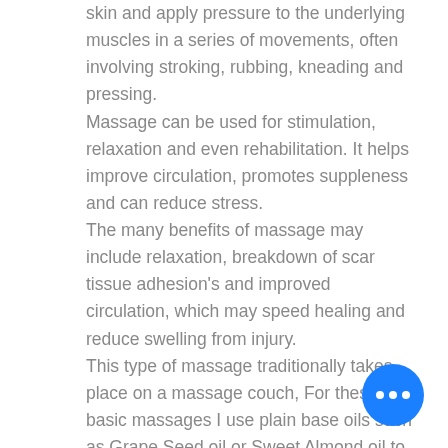skin and apply pressure to the underlying muscles in a series of movements, often involving stroking, rubbing, kneading and pressing.
Massage can be used for stimulation, relaxation and even rehabilitation. It helps improve circulation, promotes suppleness and can reduce stress.
The many benefits of massage may include relaxation, breakdown of scar tissue adhesion's and improved circulation, which may speed healing and reduce swelling from injury.
This type of massage traditionally takes place on a massage couch, For these basic massages I use plain base oils such as Grape Seed oil or Sweet Almond oil to help my hands glide over the skin. Other oils are available depending on your skin type.